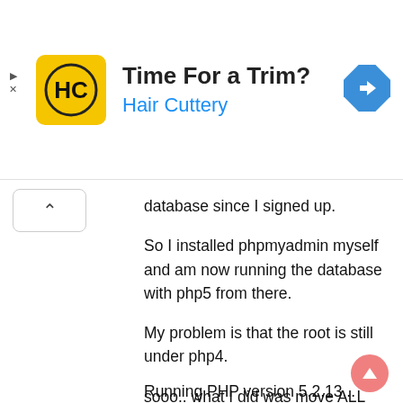[Figure (infographic): Advertisement banner for Hair Cuttery with yellow logo, text 'Time For a Trim?' and 'Hair Cuttery' in blue, and a blue diamond arrow navigation icon.]
database since I signed up.
So I installed phpmyadmin myself and am now running the database with php5 from there.
My problem is that the root is still under php4.
sooo.. what I did was move ALL The files from the website under root/phpmyadmin/check to check for viruses... but all I get is this:
Running PHP version 5.2.13...